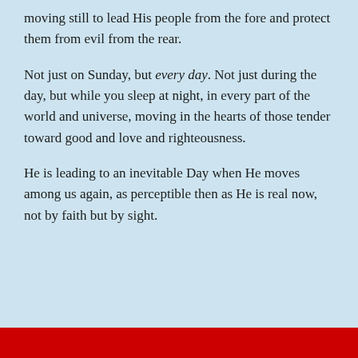moving still to lead His people from the fore and protect them from evil from the rear.
Not just on Sunday, but every day. Not just during the day, but while you sleep at night, in every part of the world and universe, moving in the hearts of those tender toward good and love and righteousness.
He is leading to an inevitable Day when He moves among us again, as perceptible then as He is real now, not by faith but by sight.
Privacy & Cookies: This site uses cookies. By continuing to use this website, you agree to their use.
To find out more, including how to control cookies, see here: Cookie Policy
Close and accept